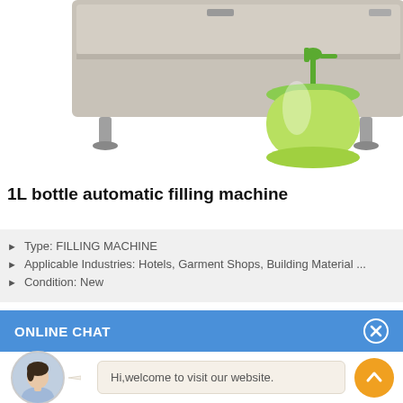[Figure (photo): Top portion of a metallic automated filling machine in grey/silver color, and a green pump soap dispenser bottle positioned to the right, shown against a white background.]
1L bottle automatic filling machine
Type: FILLING MACHINE
Applicable Industries: Hotels, Garment Shops, Building Material ...
Condition: New
ONLINE CHAT
[Figure (photo): Avatar of a woman named Cilina, shown in a circular crop, wearing a light blue shirt.]
Hi,welcome to visit our website.
Cilina